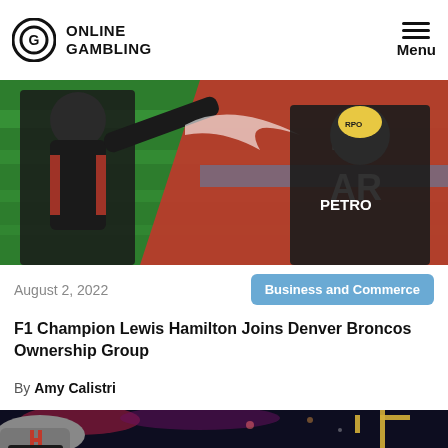ONLINE GAMBLING — Menu
[Figure (photo): Two Formula 1 drivers in black racing suits celebrating on a podium, one spraying champagne at the other, with a colorful red and green backdrop. Text 'FO AR' visible on background banner.]
August 2, 2022
Business and Commerce
F1 Champion Lewis Hamilton Joins Denver Broncos Ownership Group
By Amy Calistri
[Figure (photo): Partial view of a football player wearing a helmet with red face mask, with stadium lights and goal posts visible in the background.]